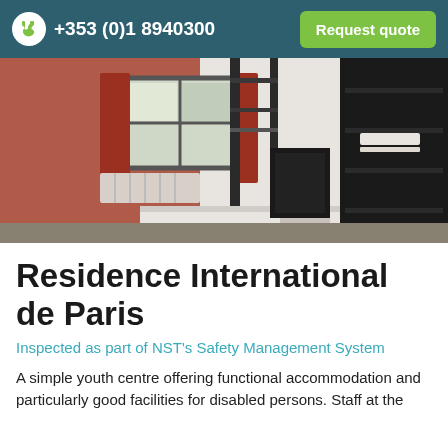+353 (0)1 8940300  Request quote
[Figure (photo): Interior of a hostel room showing bunk beds with metal frames, a window with red curtains, a radiator, and shelving unit against white walls with orange/red accent wall.]
Residence International de Paris
Inspected as part of NST's Safety Management System
A simple youth centre offering functional accommodation and particularly good facilities for disabled persons. Staff at the